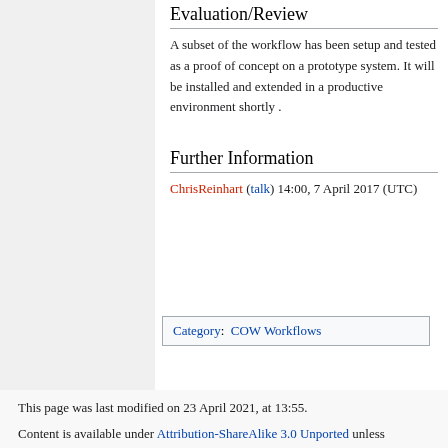Evaluation/Review
A subset of the workflow has been setup and tested as a proof of concept on a prototype system. It will be installed and extended in a productive environment shortly .
Further Information
ChrisReinhart (talk) 14:00, 7 April 2017 (UTC)
Category:  COW Workflows
This page was last modified on 23 April 2021, at 13:55.
Content is available under Attribution-ShareAlike 3.0 Unported unless otherwise noted.